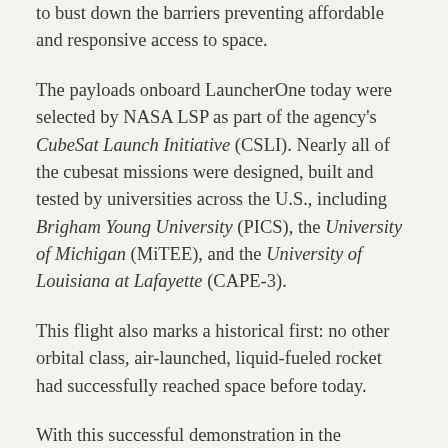to bust down the barriers preventing affordable and responsive access to space.
The payloads onboard LauncherOne today were selected by NASA LSP as part of the agency's CubeSat Launch Initiative (CSLI). Nearly all of the cubesat missions were designed, built and tested by universities across the U.S., including Brigham Young University (PICS), the University of Michigan (MiTEE), and the University of Louisiana at Lafayette (CAPE-3).
This flight also marks a historical first: no other orbital class, air-launched, liquid-fueled rocket had successfully reached space before today.
With this successful demonstration in the